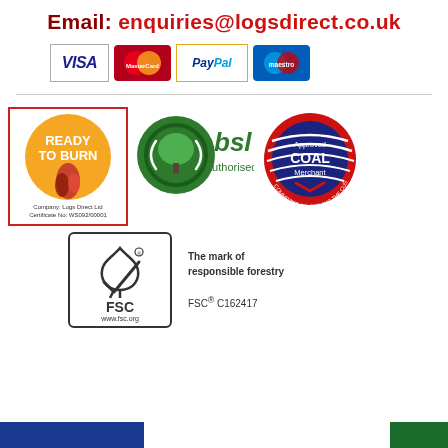Email: enquiries@logsdirect.co.uk
[Figure (logo): Payment method logos: Visa, Mastercard, PayPal, Maestro]
[Figure (logo): Ready to Burn logo - orange circle with flame, Company: Logs Direct Ltd, Certificate No: WS092/00001]
[Figure (logo): BSL authorised logo - green tree circle with bsl text]
[Figure (logo): Approved Coal Merchant badge - circular red/navy badge]
[Figure (logo): FSC logo - tree with checkmark, www.fsc.org]
The mark of responsible forestry
FSC® C162417
[Figure (logo): Bottom left blue badge (partially visible)]
[Figure (logo): Bottom right green badge (partially visible)]